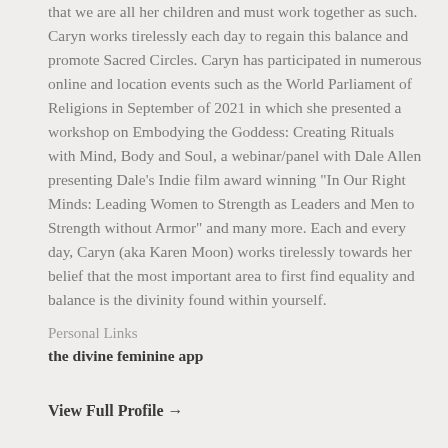that we are all her children and must work together as such. Caryn works tirelessly each day to regain this balance and promote Sacred Circles. Caryn has participated in numerous online and location events such as the World Parliament of Religions in September of 2021 in which she presented a workshop on Embodying the Goddess: Creating Rituals with Mind, Body and Soul, a webinar/panel with Dale Allen presenting Dale's Indie film award winning "In Our Right Minds: Leading Women to Strength as Leaders and Men to Strength without Armor" and many more. Each and every day, Caryn (aka Karen Moon) works tirelessly towards her belief that the most important area to first find equality and balance is the divinity found within yourself.
Personal Links
the divine feminine app
View Full Profile →